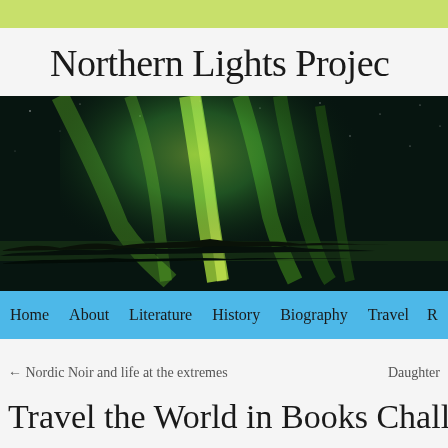Northern Lights Reading Project
[Figure (photo): Aurora borealis (northern lights) photograph showing bright green curtains of light over a dark rocky landscape at night]
Home  About  Literature  History  Biography  Travel  R
← Nordic Noir and life at the extremes    Daughter
Travel the World in Books Challenge and R